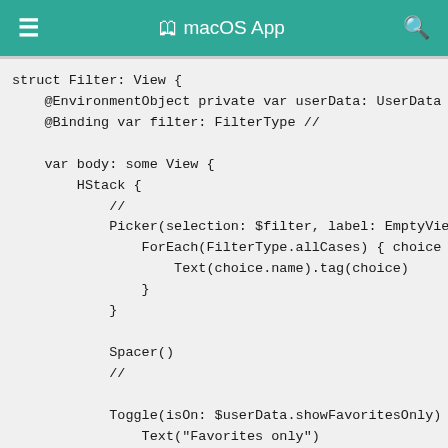≡  🔖 macOS App  🔍
struct Filter: View {
    @EnvironmentObject private var userData: UserData
    @Binding var filter: FilterType //

    var body: some View {
        HStack {
            //
            Picker(selection: $filter, label: EmptyVie
                ForEach(FilterType.allCases) { choice i
                    Text(choice.name).tag(choice)
                }
            }

            Spacer()
            //

            Toggle(isOn: $userData.showFavoritesOnly)
                Text("Favorites only")
            }
        }
    }